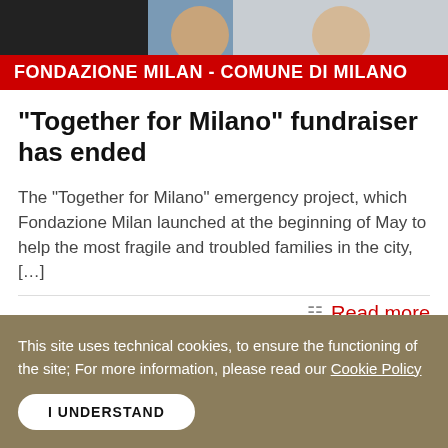[Figure (photo): Video call screenshot showing two people in separate panels against dark background with red banner overlay reading FONDAZIONE MILAN - COMUNE DI MILANO]
“Together for Milano” fundraiser has ended
The “Together for Milano” emergency project, which Fondazione Milan launched at the beginning of May to help the most fragile and troubled families in the city, […]
Read more
This site uses technical cookies, to ensure the functioning of the site; For more information, please read our Cookie Policy
I UNDERSTAND